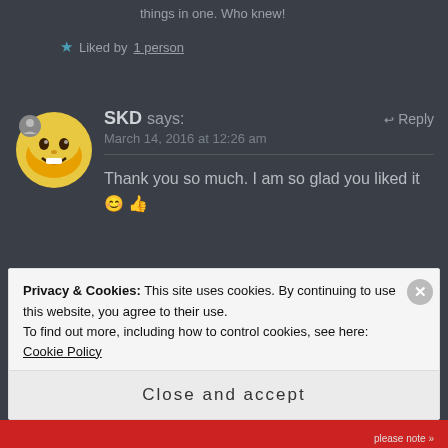things in one. Who knew!
★ Liked by 1 person
SKD says:
March 14, 2016 at 12:26 am
Thank you so much. I am so glad you liked it 😊 👍
★ Liked by 1 person
Privacy & Cookies: This site uses cookies. By continuing to use this website, you agree to their use.
To find out more, including how to control cookies, see here: Cookie Policy
Close and accept